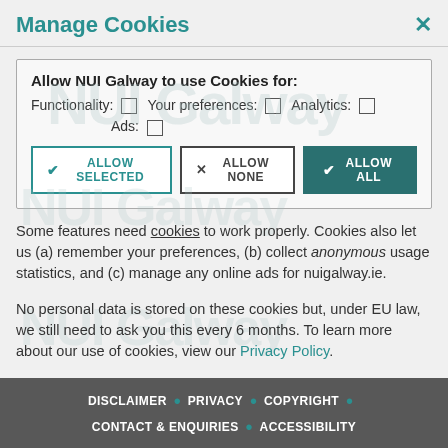Manage Cookies
[Figure (screenshot): Cookie management dialog box with checkboxes for Functionality, Your preferences, Analytics, and Ads, plus three buttons: Allow Selected, Allow None, Allow All]
Some features need cookies to work properly. Cookies also let us (a) remember your preferences, (b) collect anonymous usage statistics, and (c) manage any online ads for nuigalway.ie.
No personal data is stored on these cookies but, under EU law, we still need to ask you this every 6 months. To learn more about our use of cookies, view our Privacy Policy.
DISCLAIMER • PRIVACY • COPYRIGHT • CONTACT & ENQUIRIES • ACCESSIBILITY